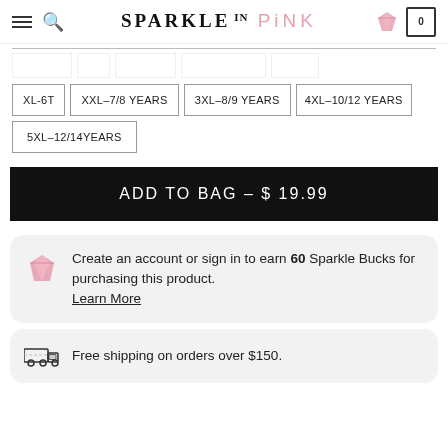SPARKLE IN PINK
XL-6T
XXL-7/8 YEARS
3XL-8/9 YEARS
4XL-10/12 YEARS
5XL-12/14YEARS
ADD TO BAG - $ 19.99
Create an account or sign in to earn 60 Sparkle Bucks for purchasing this product. Learn More
Free shipping on orders over $150.